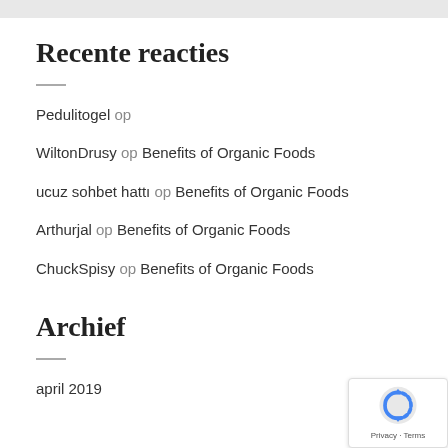Recente reacties
Pedulitogel op
WiltonDrusy op Benefits of Organic Foods
ucuz sohbet hattı op Benefits of Organic Foods
Arthurjal op Benefits of Organic Foods
ChuckSpisy op Benefits of Organic Foods
Archief
april 2019
[Figure (logo): Google reCAPTCHA badge with icon and Privacy/Terms text]